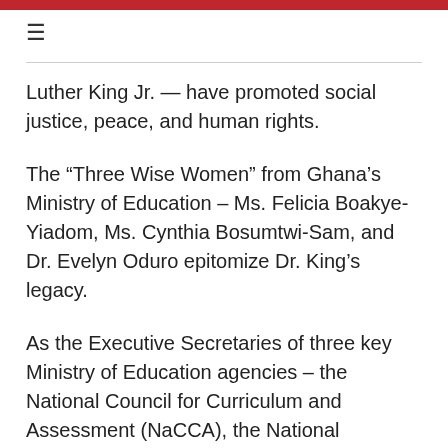≡
Luther King Jr. — have promoted social justice, peace, and human rights.
The “Three Wise Women” from Ghana’s Ministry of Education – Ms. Felicia Boakye-Yiadom, Ms. Cynthia Bosumtwi-Sam, and Dr. Evelyn Oduro epitomize Dr. King’s legacy.
As the Executive Secretaries of three key Ministry of Education agencies – the National Council for Curriculum and Assessment (NaCCA), the National Inspectorate Board (NIB), and the National Teaching Council (NTC), these women have been instrumental in the Ministry’s success in partnering and collaborating with development partners, including USAID, non-governmental organizations, and civil